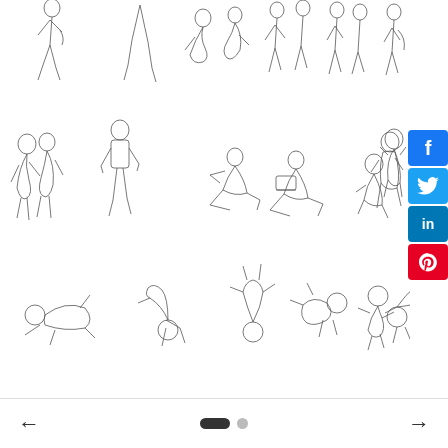[Figure (illustration): Collection of line-art human figure illustrations in three rows. Top row: various walking, standing, and crouching people figures (partial, cropped at top). Middle row: figures in various poses including standing couple, seated readers, crouching child, standing girl, kneeling woman. Bottom row: figures in dynamic/acrobatic ground poses including rolling, backbend, cartwheel.]
[Figure (infographic): Social media share buttons on right side: Facebook (blue), Twitter (blue), LinkedIn (blue), Pinterest (red)]
[Figure (infographic): Navigation bar at bottom with left arrow, pagination dots (one active pill and one circle), and right arrow]